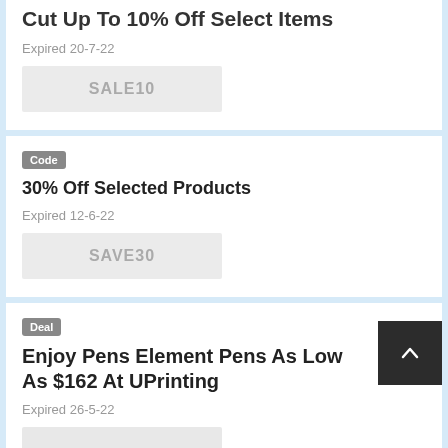Cut Up To 10% Off Select Items
Expired 20-7-22
SALE10
Code
30% Off Selected Products
Expired 12-6-22
SAVE30
Deal
Enjoy Pens Element Pens As Low As $162 At UPrinting
Expired 26-5-22